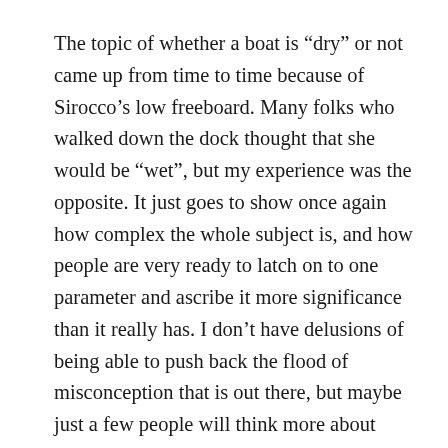The topic of whether a boat is “dry” or not came up from time to time because of Sirocco’s low freeboard. Many folks who walked down the dock thought that she would be “wet”, but my experience was the opposite. It just goes to show once again how complex the whole subject is, and how people are very ready to latch on to one parameter and ascribe it more significance than it really has. I don’t have delusions of being able to push back the flood of misconception that is out there, but maybe just a few people will think more about why the old timers made boats the way they did…